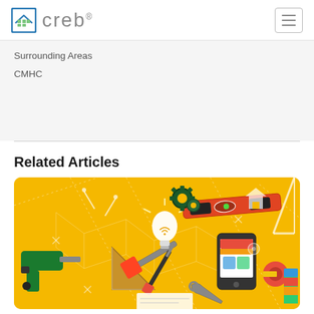[Figure (logo): CREB logo with building icon and text 'creb' with registered trademark symbol]
Surrounding Areas
CMHC
Related Articles
[Figure (illustration): Yellow background illustration showing construction and renovation tools including drill, hammer, triangle ruler, gears, level, lightbulb, smartphone, tape measure, and other tools in an isometric style]